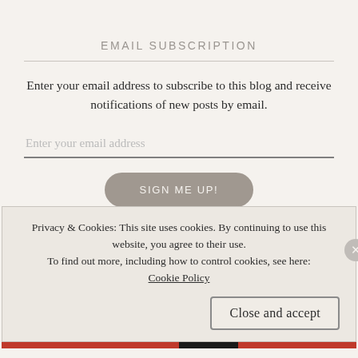EMAIL SUBSCRIPTION
Enter your email address to subscribe to this blog and receive notifications of new posts by email.
Enter your email address
SIGN ME UP!
Join 1,064 other followers
Privacy & Cookies: This site uses cookies. By continuing to use this website, you agree to their use.
To find out more, including how to control cookies, see here: Cookie Policy
Close and accept